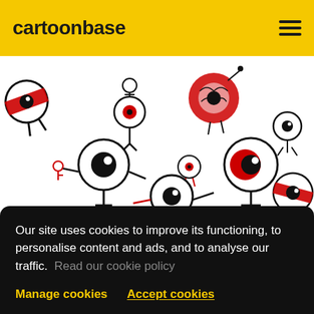cartoonbase
[Figure (illustration): Cartoon eye-ball characters scattered on white background, drawn in black and red colors with various poses and expressions]
Our site uses cookies to improve its functioning, to personalise content and ads, and to analyse our traffic. Read our cookie policy
Manage cookies
Accept cookies